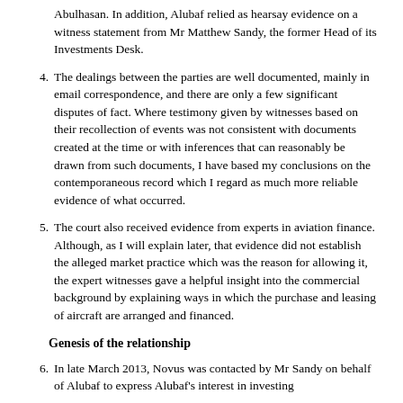Abulhasan. In addition, Alubaf relied as hearsay evidence on a witness statement from Mr Matthew Sandy, the former Head of its Investments Desk.
4. The dealings between the parties are well documented, mainly in email correspondence, and there are only a few significant disputes of fact. Where testimony given by witnesses based on their recollection of events was not consistent with documents created at the time or with inferences that can reasonably be drawn from such documents, I have based my conclusions on the contemporaneous record which I regard as much more reliable evidence of what occurred.
5. The court also received evidence from experts in aviation finance. Although, as I will explain later, that evidence did not establish the alleged market practice which was the reason for allowing it, the expert witnesses gave a helpful insight into the commercial background by explaining ways in which the purchase and leasing of aircraft are arranged and financed.
Genesis of the relationship
6. In late March 2013, Novus was contacted by Mr Sandy on behalf of Alubaf to express Alubaf's interest in investing